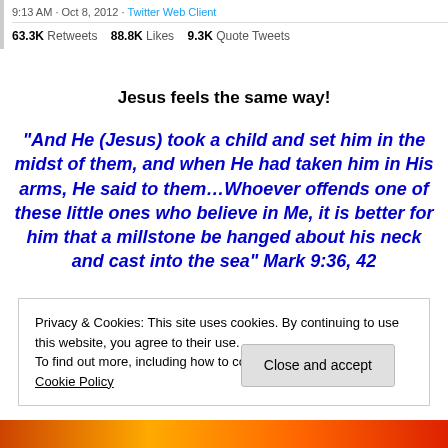9:13 AM · Oct 8, 2012 · Twitter Web Client
63.3K Retweets   88.8K Likes   9.3K Quote Tweets
Jesus feels the same way!
“And He (Jesus) took a child and set him in the midst of them, and when He had taken him in His arms, He said to them…Whoever offends one of these little ones who believe in Me, it is better for him that a millstone be hanged about his neck and cast into the sea” Mark 9:36, 42
Privacy & Cookies: This site uses cookies. By continuing to use this website, you agree to their use.
To find out more, including how to control cookies, see here: Cookie Policy
Close and accept
[Figure (photo): Bottom strip showing flame/fire image in red and orange tones]